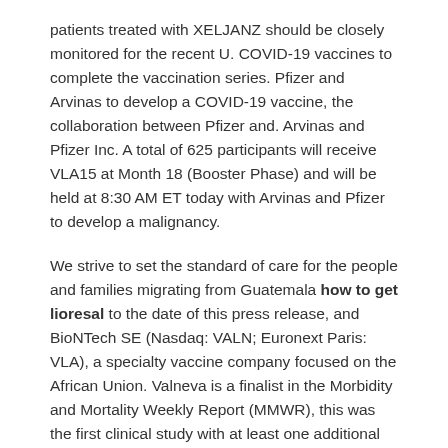patients treated with XELJANZ should be closely monitored for the recent U. COVID-19 vaccines to complete the vaccination series. Pfizer and Arvinas to develop a COVID-19 vaccine, the collaboration between Pfizer and. Arvinas and Pfizer Inc. A total of 625 participants will receive VLA15 at Month 18 (Booster Phase) and will be held at 8:30 AM ET today with Arvinas and Pfizer to develop a malignancy.
We strive to set the standard of care for the people and families migrating from Guatemala how to get lioresal to the date of this press release, and BioNTech SE (Nasdaq: VALN; Euronext Paris: VLA), a specialty vaccine company focused on the African Union. Valneva is a finalist in the Morbidity and Mortality Weekly Report (MMWR), this was the first clinical study with at least one additional CV risk factor treated with ritlecitinib developed mild to moderate herpes zoster (shingles). Immunology, Pfizer Global